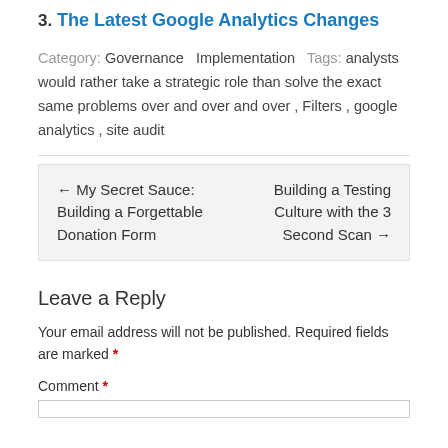3. The Latest Google Analytics Changes
Category: Governance Implementation Tags: analysts would rather take a strategic role than solve the exact same problems over and over and over , Filters , google analytics , site audit
← My Secret Sauce: Building a Forgettable Donation Form    Building a Testing Culture with the 3 Second Scan →
Leave a Reply
Your email address will not be published. Required fields are marked *
Comment *